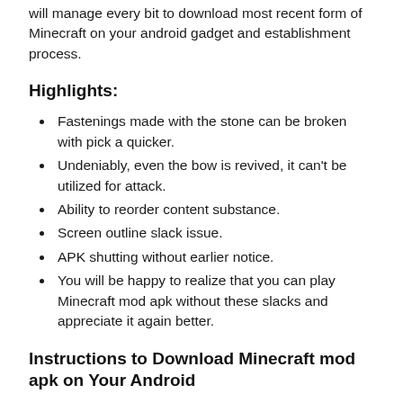will manage every bit to download most recent form of Minecraft on your android gadget and establishment process.
Highlights:
Fastenings made with the stone can be broken with pick a quicker.
Undeniably, even the bow is revived, it can't be utilized for attack.
Ability to reorder content substance.
Screen outline slack issue.
APK shutting without earlier notice.
You will be happy to realize that you can play Minecraft mod apk without these slacks and appreciate it again better.
Instructions to Download Minecraft mod apk on Your Android